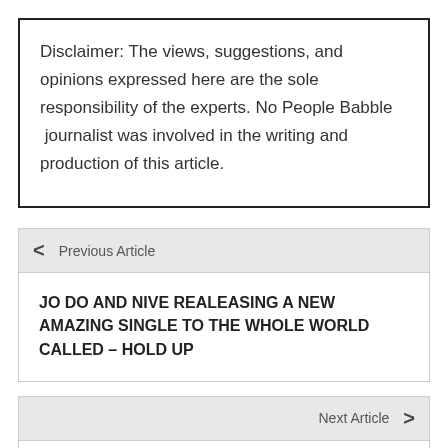Disclaimer: The views, suggestions, and opinions expressed here are the sole responsibility of the experts. No People Babble  journalist was involved in the writing and production of this article.
< Previous Article
JO DO AND NIVE REALEASING A NEW AMAZING SINGLE TO THE WHOLE WORLD CALLED – HOLD UP
Next Article >
Boneshaker Electric Bikes Offers Top-Of-The-Line eBike Rentals In Venice, California